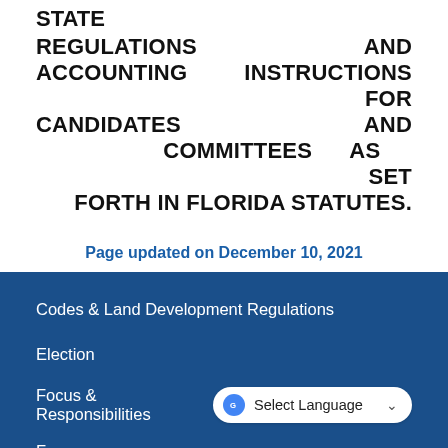STATE REGULATIONS AND ACCOUNTING INSTRUCTIONS FOR CANDIDATES AND COMMITTEES AS SET FORTH IN FLORIDA STATUTES.
Page updated on December 10, 2021
Codes & Land Development Regulations
Election
Focus & Responsibilities
Forms